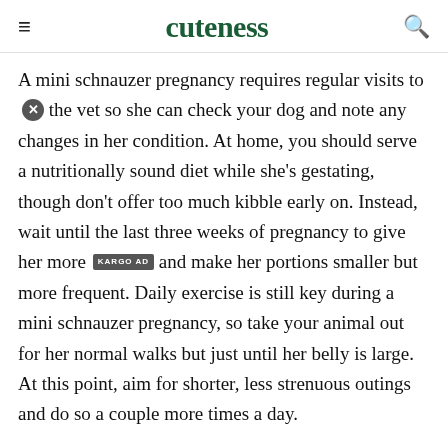cuteness
A mini schnauzer pregnancy requires regular visits to the vet so she can check your dog and note any changes in her condition. At home, you should serve a nutritionally sound diet while she's gestating, though don't offer too much kibble early on. Instead, wait until the last three weeks of pregnancy to give her more and make her portions smaller but more frequent. Daily exercise is still key during a mini schnauzer pregnancy, so take your animal out for her normal walks but just until her belly is large. At this point, aim for shorter, less strenuous outings and do so a couple more times a day.
Advertisement